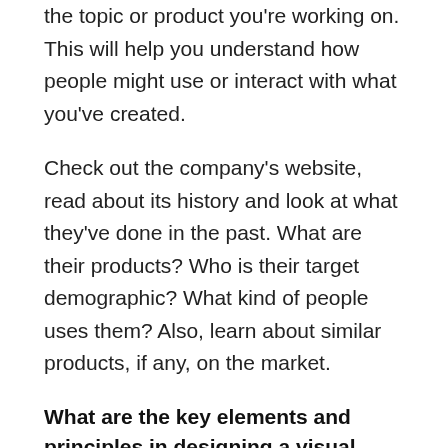the topic or product you're working on. This will help you understand how people might use or interact with what you've created.
Check out the company's website, read about its history and look at what they've done in the past. What are their products? Who is their target demographic? What kind of people uses them? Also, learn about similar products, if any, on the market.
What are the key elements and principles in designing a visual communication UI UX?